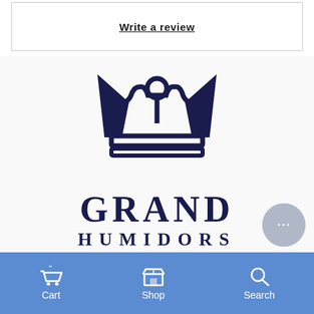Write a review
[Figure (logo): Grand Humidors logo: dark navy crown icon above the text GRAND in large serif letters and HUMIDORS in smaller spaced serif letters]
Cart  Shop  Search